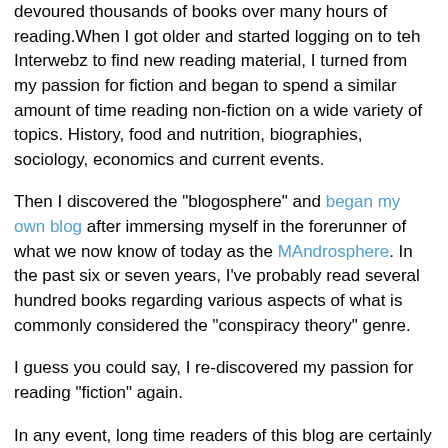devoured thousands of books over many hours of reading.When I got older and started logging on to teh Interwebz to find new reading material, I turned from my passion for fiction and began to spend a similar amount of time reading non-fiction on a wide variety of topics. History, food and nutrition, biographies, sociology, economics and current events.
Then I discovered the "blogosphere" and began my own blog after immersing myself in the forerunner of what we now know of today as the MAndrosphere. In the past six or seven years, I've probably read several hundred books regarding various aspects of what is commonly considered the "conspiracy theory" genre.
I guess you could say, I re-discovered my passion for reading "fiction" again.
In any event, long time readers of this blog are certainly familiar with all of the tinfoil hat-themed posts i've made here, inspired by all of this reading of both fiction and non-fiction (although it's become rather difficult in deciding which is